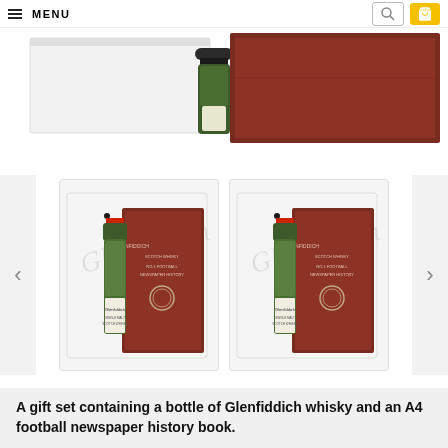MENU
[Figure (photo): Top portion of a Glenfiddich whisky gift set showing a green bottle partially inside a white box with a dark red/brown book behind it, on a white background.]
[Figure (photo): Carousel showing two side-by-side thumbnail images of Glenfiddich whisky gift sets, each containing a green Glenfiddich bottle and a dark red A4 football newspaper history book, displayed in a white presentation box.]
A gift set containing a bottle of Glenfiddich whisky and an A4 football newspaper history book.